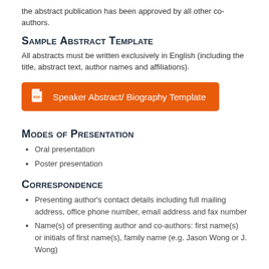the abstract publication has been approved by all other co-authors.
Sample Abstract Template
All abstracts must be written exclusively in English (including the title, abstract text, author names and affiliations).
[Figure (other): Orange button labeled 'Speaker Abstract/ Biography Template' with a PDF icon]
Modes of Presentation
Oral presentation
Poster presentation
Correspondence
Presenting author's contact details including full mailing address, office phone number, email address and fax number
Name(s) of presenting author and co-authors: first name(s) or initials of first name(s), family name (e.g. Jason Wong or J. Wong)